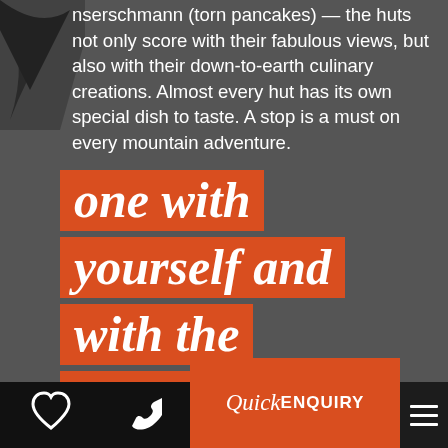nserschmarın (torn pancakes) — the huts not only score with their fabulous views, but also with their down-to-earth culinary creations. Almost every hut has its own special dish to taste. A stop is a must on every mountain adventure.
one with yourself and with the mountains.
Quick ENQUIRY